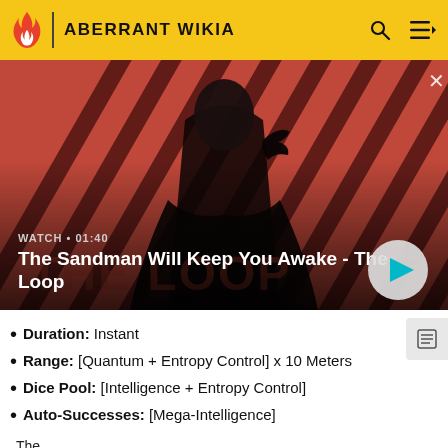ABERRANT WIKIA
[Figure (screenshot): Video thumbnail showing a dark-cloaked figure with a raven on shoulder against a red and black diagonal stripe background. Title text: The Sandman Will Keep You Awake - The Loop. Watch label: WATCH • 01:40]
Duration: Instant
Range: [Quantum + Entropy Control] x 10 Meters
Dice Pool: [Intelligence + Entropy Control]
Auto-Successes: [Mega-Intelligence]
The…